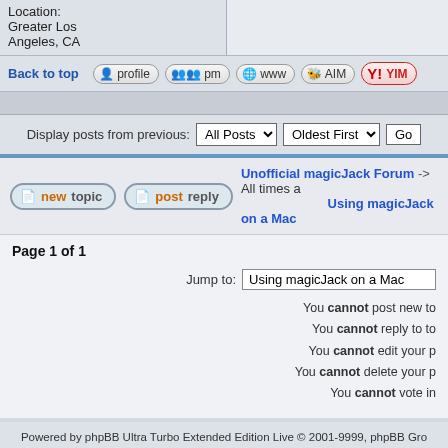Location: Greater Los Angeles, CA
Back to top | profile | pm | www | AIM | YIM
Display posts from previous: All Posts | Oldest First | Go
new topic | post reply | Unofficial magicJack Forum -> All times a Using magicJack on a Mac
Page 1 of 1
Jump to: Using magicJack on a Mac
You cannot post new to
You cannot reply to to
You cannot edit your p
You cannot delete your p
You cannot vote in
Powered by phpBB Ultra Turbo Extended Edition Live © 2001-9999, phpBB Gro magicJack and magicJack Plus are trademarks of magicJack LLP. This website is in no way affili sponsored by magicJack LLP, and is an unofficial forum for consumers to openly communicate experiences with the magicJack products.